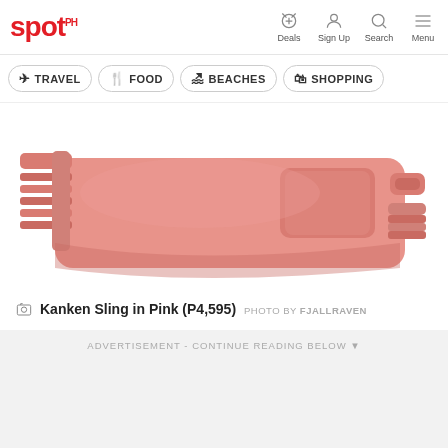spot. | Deals | Sign Up | Search | Menu
TRAVEL
FOOD
BEACHES
SHOPPING
[Figure (photo): Kanken Sling bag in pink color, showing the back side with a sling strap and carry handle on white background]
Kanken Sling in Pink (P4,595) PHOTO BY FJALLRAVEN
ADVERTISEMENT - CONTINUE READING BELOW